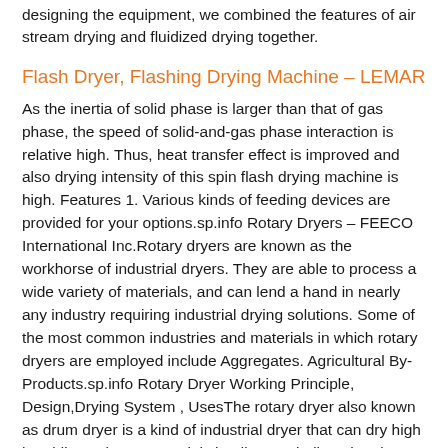designing the equipment, we combined the features of air stream drying and fluidized drying together.
Flash Dryer, Flashing Drying Machine – LEMAR
As the inertia of solid phase is larger than that of gas phase, the speed of solid-and-gas phase interaction is relative high. Thus, heat transfer effect is improved and also drying intensity of this spin flash drying machine is high. Features 1. Various kinds of feeding devices are provided for your options.sp.info Rotary Dryers – FEECO International Inc.Rotary dryers are known as the workhorse of industrial dryers. They are able to process a wide variety of materials, and can lend a hand in nearly any industry requiring industrial drying solutions. Some of the most common industries and materials in which rotary dryers are employed include Aggregates. Agricultural By-Products.sp.info Rotary Dryer Working Principle, Design,Drying System , UsesThe rotary dryer also known as drum dryer is a kind of industrial dryer that can dry high humidity moisture materials by direct or indirect heating,